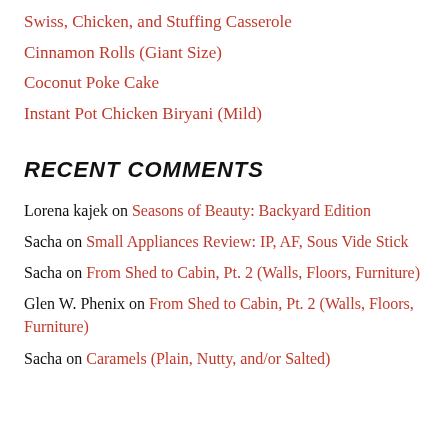Swiss, Chicken, and Stuffing Casserole
Cinnamon Rolls (Giant Size)
Coconut Poke Cake
Instant Pot Chicken Biryani (Mild)
RECENT COMMENTS
Lorena kajek on Seasons of Beauty: Backyard Edition
Sacha on Small Appliances Review: IP, AF, Sous Vide Stick
Sacha on From Shed to Cabin, Pt. 2 (Walls, Floors, Furniture)
Glen W. Phenix on From Shed to Cabin, Pt. 2 (Walls, Floors, Furniture)
Sacha on Caramels (Plain, Nutty, and/or Salted)